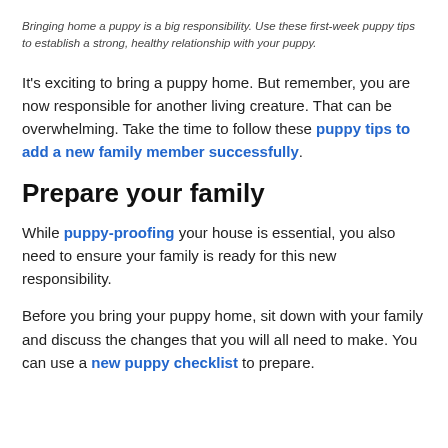Bringing home a puppy is a big responsibility. Use these first-week puppy tips to establish a strong, healthy relationship with your puppy.
It's exciting to bring a puppy home. But remember, you are now responsible for another living creature. That can be overwhelming. Take the time to follow these puppy tips to add a new family member successfully.
Prepare your family
While puppy-proofing your house is essential, you also need to ensure your family is ready for this new responsibility.
Before you bring your puppy home, sit down with your family and discuss the changes that you will all need to make. You can use a new puppy checklist to prepare.